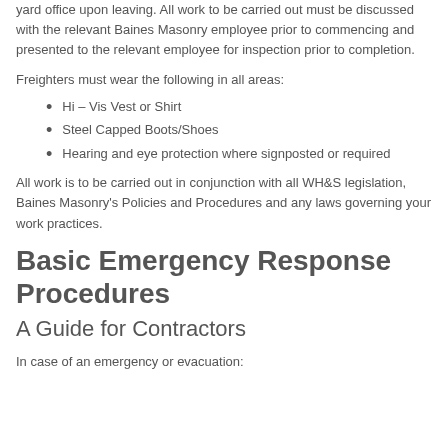yard office upon leaving. All work to be carried out must be discussed with the relevant Baines Masonry employee prior to commencing and presented to the relevant employee for inspection prior to completion.
Freighters must wear the following in all areas:
Hi – Vis Vest or Shirt
Steel Capped Boots/Shoes
Hearing and eye protection where signposted or required
All work is to be carried out in conjunction with all WH&S legislation, Baines Masonry's Policies and Procedures and any laws governing your work practices.
Basic Emergency Response Procedures
A Guide for Contractors
In case of an emergency or evacuation: